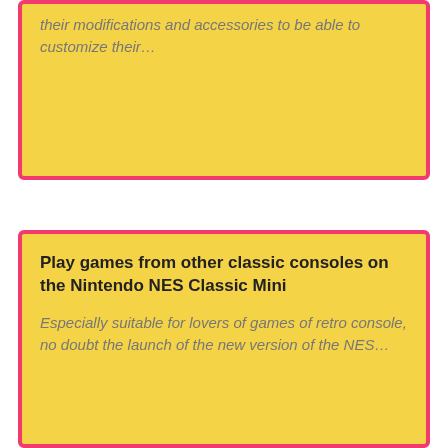their modifications and accessories to be able to customize their…
Play games from other classic consoles on the Nintendo NES Classic Mini
Especially suitable for lovers of games of retro console, no doubt the launch of the new version of the NES…